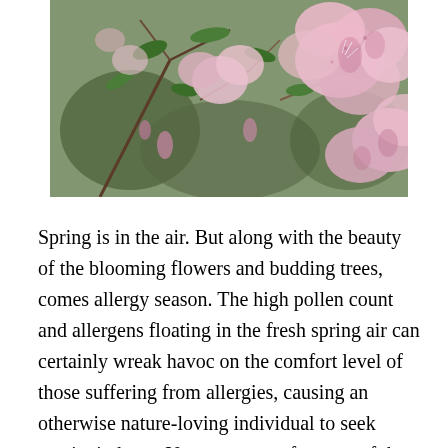[Figure (photo): Close-up photograph of pink azalea flowers in bloom with green leaves and branches against a blurred background.]
Spring is in the air. But along with the beauty of the blooming flowers and budding trees, comes allergy season. The high pollen count and allergens floating in the fresh spring air can certainly wreak havoc on the comfort level of those suffering from allergies, causing an otherwise nature-loving individual to seek respite indoors. Your eyes are often one of the areas